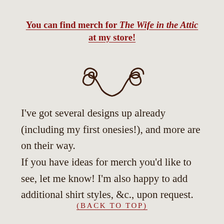You can find merch for The Wife in the Attic at my store!
[Figure (illustration): Decorative ornamental flourish / divider — a symmetric scroll/curl design in dark brown]
I've got several designs up already (including my first onesies!), and more are on their way.
If you have ideas for merch you'd like to see, let me know! I'm also happy to add additional shirt styles, &c., upon request.
(BACK TO TOP)